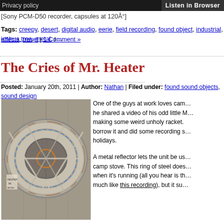Privacy policy | Listen in Browser
[Sony PCM-D50 recorder, capsules at 120Å°]
Tags: creepy, desert, digital audio, eerie, field recording, found object, industrial, joshua tree, metal, r... effects, travel | 1 Comment »
The Cries of Mr. Heater
Posted: January 20th, 2011 | Author: Nathan | Filed under: found sound objects, sound design
[Figure (photo): Close-up photo of a Mr. Heater portable camping heater, showing the round metal reflector and heating element with a mesh screen, viewed from above on a tiled surface.]
One of the guys at work loves cam... he shared a video of his odd little M... making some weird unholy racket. borrow it and did some recording s... holidays.

A metal reflector lets the unit be us... camp stove. This ring of steel does... when it's running (all you hear is th... much like this recording), but it su...